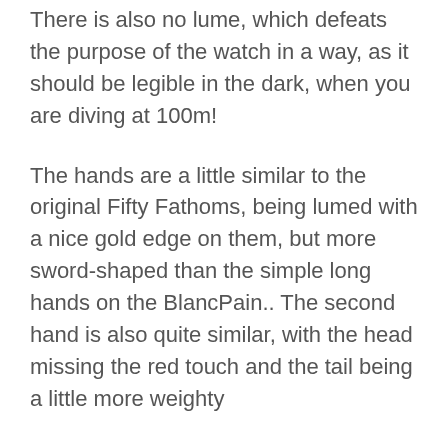There is also no lume, which defeats the purpose of the watch in a way, as it should be legible in the dark, when you are diving at 100m!
The hands are a little similar to the original Fifty Fathoms, being lumed with a nice gold edge on them, but more sword-shaped than the simple long hands on the BlancPain.. The second hand is also quite similar, with the head missing the red touch and the tail being a little more weighty
The original had a no date window, whereas